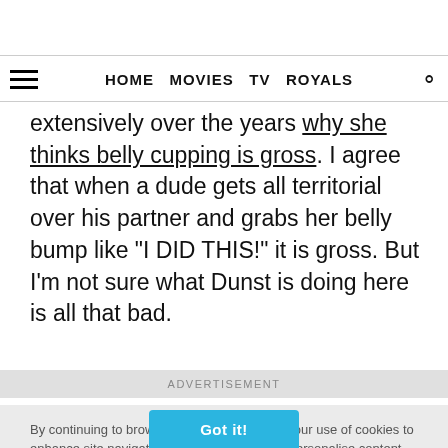HOME  MOVIES  TV  ROYALS
extensively over the years why she thinks belly cupping is gross. I agree that when a dude gets all territorial over his partner and grabs her belly bump like “I DID THIS!” it is gross. But I’m not sure what Dunst is doing here is all that bad.
ADVERTISEMENT
By continuing to browse our site you agree to our use of cookies to enhance site navigation, analyze site usage, personalise content and ads, and to enhance social media features. To learn more and to view our Cookie Policy,  click here.